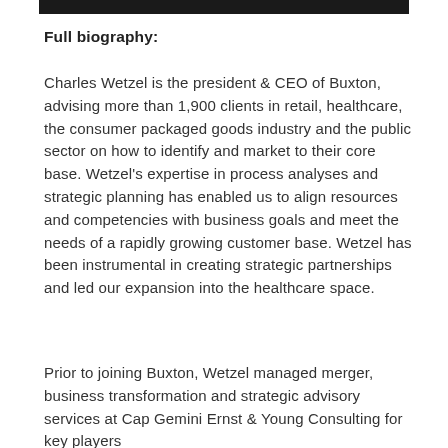Full biography:
Charles Wetzel is the president & CEO of Buxton, advising more than 1,900 clients in retail, healthcare, the consumer packaged goods industry and the public sector on how to identify and market to their core base. Wetzel's expertise in process analyses and strategic planning has enabled us to align resources and competencies with business goals and meet the needs of a rapidly growing customer base. Wetzel has been instrumental in creating strategic partnerships and led our expansion into the healthcare space.
Prior to joining Buxton, Wetzel managed merger, business transformation and strategic advisory services at Cap Gemini Ernst & Young Consulting for key players